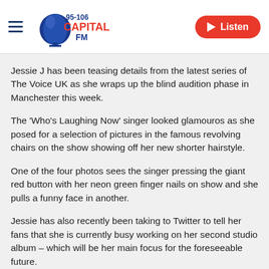95-106 Capital FM | Listen
Jessie J has been teasing details from the latest series of The Voice UK as she wraps up the blind audition phase in Manchester this week.
The 'Who's Laughing Now' singer looked glamouros as she posed for a selection of pictures in the famous revolving chairs on the show showing off her new shorter hairstyle.
One of the four photos sees the singer pressing the giant red button with her neon green finger nails on show and she pulls a funny face in another.
Jessie has also recently been taking to Twitter to tell her fans that she is currently busy working on her second studio album – which will be her main focus for the foreseeable future.